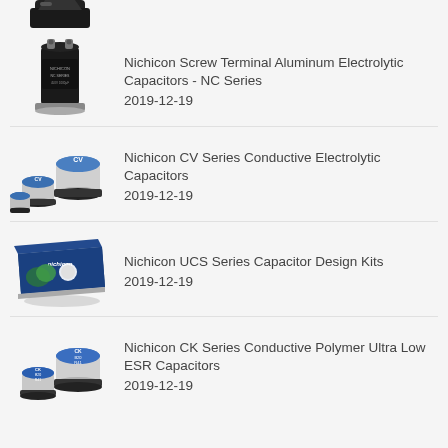[Figure (photo): Partial view of an electronic component at top of page (cropped)]
[Figure (photo): Nichicon large black cylindrical screw terminal aluminum electrolytic capacitor]
Nichicon Screw Terminal Aluminum Electrolytic Capacitors - NC Series
2019-12-19
[Figure (photo): Nichicon CV Series conductive electrolytic capacitors - three silver/blue SMD capacitors]
Nichicon CV Series Conductive Electrolytic Capacitors
2019-12-19
[Figure (photo): Nichicon UCS Series Capacitor Design Kits - flat box packaging with green and white labeling]
Nichicon UCS Series Capacitor Design Kits
2019-12-19
[Figure (photo): Nichicon CK Series conductive polymer ultra low ESR capacitors - two small SMD capacitors with blue tops]
Nichicon CK Series Conductive Polymer Ultra Low ESR Capacitors
2019-12-19